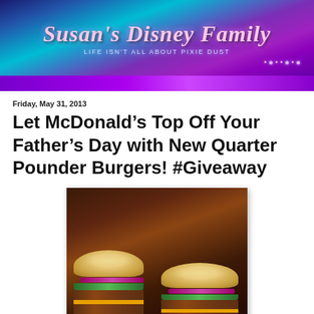[Figure (illustration): Susan's Disney Family blog header banner with purple and teal gradient background, stylized italic text reading 'Susan's Disney Family' in pink/rose color, subtitle 'Life isn't all about Pixie Dust' in light blue, sparkle dots on the right, purple stripe at the bottom]
Friday, May 31, 2013
Let McDonald’s Top Off Your Father’s Day with New Quarter Pounder Burgers! #Giveaway
[Figure (photo): Two McDonald's Quarter Pounder burgers on a dark brown/amber background. The left burger is taller and fully assembled with red onion, lettuce, cheese visible. The right burger is slightly lower and also assembled with red onion and cheese visible. Dark moody restaurant-style photography.]